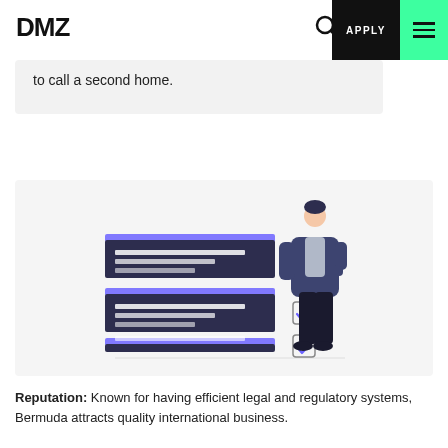DMZ | APPLY
to call a second home.
[Figure (illustration): Person in business attire standing next to a checklist with three document folders on the left, each with a checkmark box on the right.]
Reputation: Known for having efficient legal and regulatory systems, Bermuda attracts quality international business.